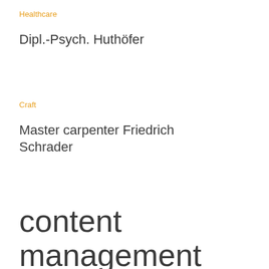Healthcare
Dipl.-Psych. Huthöfer
Craft
Master carpenter Friedrich Schrader
content management systems